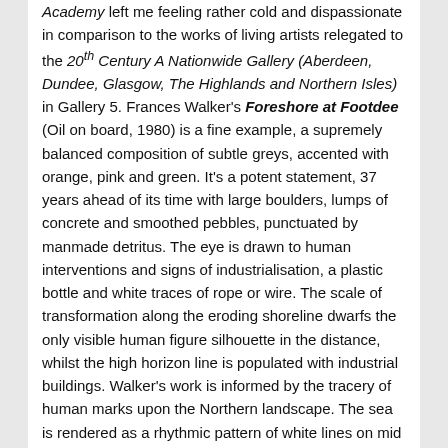Academy left me feeling rather cold and dispassionate in comparison to the works of living artists relegated to the 20th Century A Nationwide Gallery (Aberdeen, Dundee, Glasgow, The Highlands and Northern Isles) in Gallery 5. Frances Walker's Foreshore at Footdee (Oil on board, 1980) is a fine example, a supremely balanced composition of subtle greys, accented with orange, pink and green. It's a potent statement, 37 years ahead of its time with large boulders, lumps of concrete and smoothed pebbles, punctuated by manmade detritus. The eye is drawn to human interventions and signs of industrialisation, a plastic bottle and white traces of rope or wire. The scale of transformation along the eroding shoreline dwarfs the only visible human figure silhouette in the distance, whilst the high horizon line is populated with industrial buildings. Walker's work is informed by the tracery of human marks upon the Northern landscape. The sea is rendered as a rhythmic pattern of white lines on mid grey, drawing the viewer into the detail of a place lived and observed. The organic erosion of wind and waves is tempered with industrial paint colours in a complex dynamic of realism. This is the very altered land